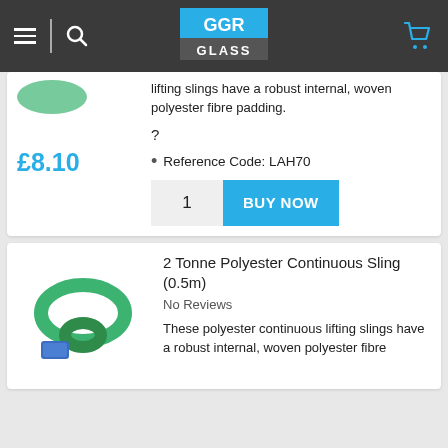GGR GLASS
lifting slings have a robust internal, woven polyester fibre padding.
?
Reference Code: LAH70
£8.10
1
BUY NOW
2 Tonne Polyester Continuous Sling (0.5m)
No Reviews
These polyester continuous lifting slings have a robust internal, woven polyester fibre